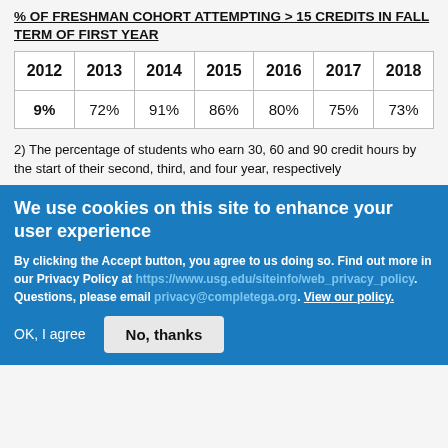% OF FRESHMAN COHORT ATTEMPTING > 15 CREDITS IN FALL TERM OF FIRST YEAR
| 2012 | 2013 | 2014 | 2015 | 2016 | 2017 | 2018 |
| --- | --- | --- | --- | --- | --- | --- |
| 9% | 72% | 91% | 86% | 80% | 75% | 73% |
2) The percentage of students who earn 30, 60 and 90 credit hours by the start of their second, third, and four year, respectively
We use cookies on this site to enhance your user experience
By clicking the Accept button, you agree to us doing so. Find out more in our Privacy Policy at https://www.usg.edu/siteinfo/web_privacy_policy. Questions, please email privacy@completega.org. View our policy.
OK, I agree  No, thanks